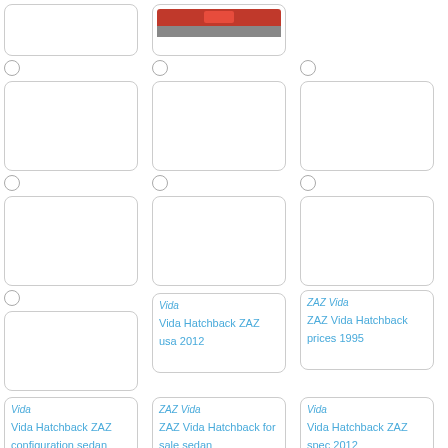[Figure (screenshot): Grid of car listing cards with radio buttons, showing Vida Hatchback ZAZ models. Top row has two cards with images (one car photo visible), middle rows show empty card placeholders with radio buttons, bottom rows show cards with alt text links: 'Vida Hatchback ZAZ usa 2012', 'ZAZ Vida Hatchback prices 1995', 'Vida Hatchback ZAZ configuration sedan', 'ZAZ Vida Hatchback for sale sedan', 'Vida Hatchback ZAZ spec 2012'.]